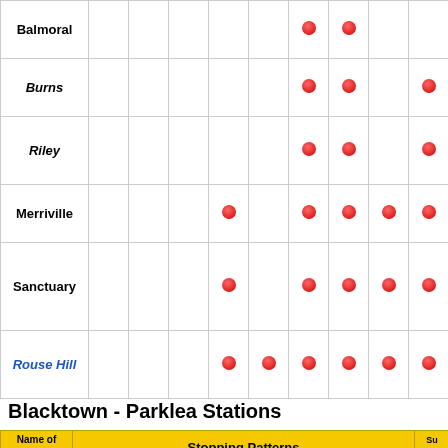| Name of station | T61 | T70 | T71 | T72 | T74 | T75 | 705 | 706 | 711 |
| --- | --- | --- | --- | --- | --- | --- | --- | --- | --- |
| Balmoral |  |  |  |  |  | ● | ● |  |  |
| Burns (italic) |  |  |  |  |  | ● | ● |  | ● |
| Riley (italic) |  |  |  |  |  | ● | ● |  | ● |
| Merriville |  |  |  | ● |  | ● | ● | ● | ● |
| Sanctuary |  |  |  | ● |  | ● | ● | ● | ● |
| Rouse Hill (italic blue) |  |  |  | ● | ● | ● | ● | ● | ● |
Blacktown - Parklea Stations
| Name of station
(Major stations in italics) | T61 | T70 | T71 | T72 | T74 | T75 | 705 | 706 | 711 | Su...S... |
| --- | --- | --- | --- | --- | --- | --- | --- | --- | --- | --- |